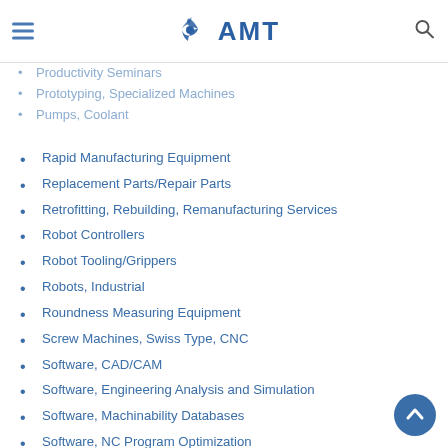AMT logo with hamburger menu and search icon
Productivity Seminars
Prototyping, Specialized Machines
Pumps, Coolant
Rapid Manufacturing Equipment
Replacement Parts/Repair Parts
Retrofitting, Rebuilding, Remanufacturing Services
Robot Controllers
Robot Tooling/Grippers
Robots, Industrial
Roundness Measuring Equipment
Screw Machines, Swiss Type, CNC
Software, CAD/CAM
Software, Engineering Analysis and Simulation
Software, Machinability Databases
Software, NC Program Optimization
Software, NC Verification
Software, Nesting
Software, Other Manufacturing
Software, Part Programming
Software, Post Processors, Stand-Alone (sold independent of CAM system)
Software, Systems Integration